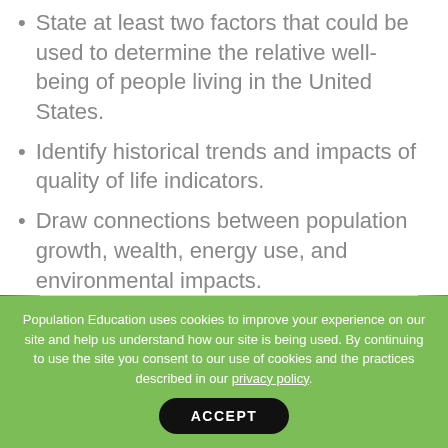State at least two factors that could be used to determine the relative well-being of people living in the United States.
Identify historical trends and impacts of quality of life indicators.
Draw connections between population growth, wealth, energy use, and environmental impacts.
[Figure (photo): Black and white photograph of a winter or spring scene with blooming trees (possibly cherry blossoms), buildings on left and right edges, and lamp posts visible.]
Population Education uses cookies to improve your experience on our site and help us understand how our site is being used. By continuing to use the site you consent to our use of cookies and the practices described in our privacy policy.